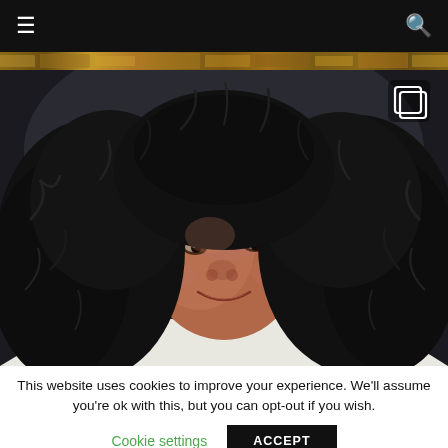≡  🔍
[Figure (photo): Decorative photo strip banner at top of page]
[Figure (photo): Portrait photo of a woman with natural curly hair, smiling, wearing a white top, selfie style]
This website uses cookies to improve your experience. We'll assume you're ok with this, but you can opt-out if you wish.
Cookie settings   ACCEPT